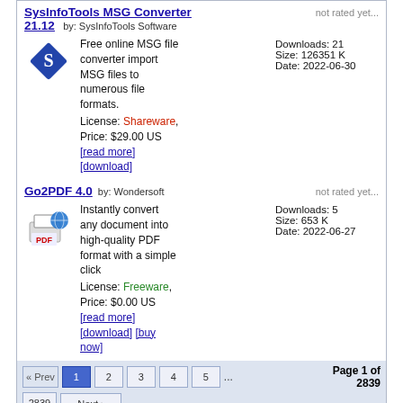SysInfoTools MSG Converter 21.12 by: SysInfoTools Software
Free online MSG file converter import MSG files to numerous file formats. License: Shareware, Price: $29.00 US [read more] [download]
Downloads: 21 Size: 126351 K Date: 2022-06-30
Go2PDF 4.0 by: Wondersoft
Instantly convert any document into high-quality PDF format with a simple click License: Freeware, Price: $0.00 US [read more] [download] [buy now]
Downloads: 5 Size: 653 K Date: 2022-06-27
« Prev 1 2 3 4 5 ... Page 1 of 2839 Next › 2839
| New shareware releases (All Categories) | New freeware releases (All Categories) | Most polular software (All Categories) |
| --- | --- | --- |
| SmartVizor Bill Statement Batch Printing Software | Go2PDF 4.0 (upd.) BSPrinter | ASC Free English to English & Urdu Dictionary |